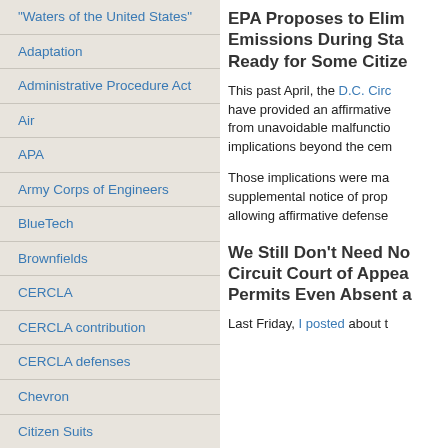"Waters of the United States"
Adaptation
Administrative Procedure Act
Air
APA
Army Corps of Engineers
BlueTech
Brownfields
CERCLA
CERCLA contribution
CERCLA defenses
Chevron
Citizen Suits
Clean Energy
Climate Change
Climate Response
Congress
EPA Proposes to Elim­inate Emissions During Sta­rtup... Ready for Some Citize­n Suits
This past April, the D.C. Circ­uit... have provided an affirmative... from unavoidable malfunction... implications beyond the ceme­nt...
Those implications were ma­de... supplemental notice of prop... allowing affirmative defense...
We Still Don't Need No... Circuit Court of Appea­ls... Permits Even Absent a...
Last Friday, I posted about t...